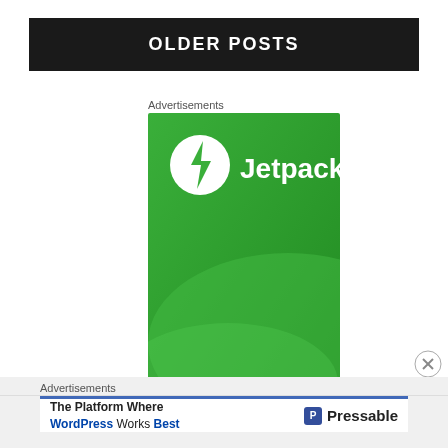OLDER POSTS
Advertisements
[Figure (logo): Jetpack advertisement banner with green background, white Jetpack logo and wordmark]
Advertisements
[Figure (logo): Pressable advertisement: 'The Platform Where WordPress Works Best' with Pressable logo]